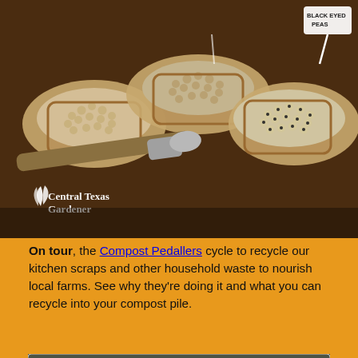[Figure (photo): Photo of multiple wicker/paper trays filled with seeds/legumes including black-eyed peas on a brown tablecloth, with gardening tools. Central Texas Gardener logo overlaid in white in bottom left.]
On tour, the Compost Pedallers cycle to recycle our kitchen scraps and other household waste to nourish local farms. See why they're doing it and what you can recycle into your compost pile.
[Figure (screenshot): YouTube video thumbnail showing a man wearing sunglasses and a dark t-shirt reading 'East Side Compost Pedallers' standing outdoors near a blue barrel. A red YouTube play button is centered on the image. Video title reads 'Will Pedal for Compost |East Side C...' with Central Texas Gardener logo. Lower bar shows 'Dan Weisberg, East Side Compost Pedallers'.]